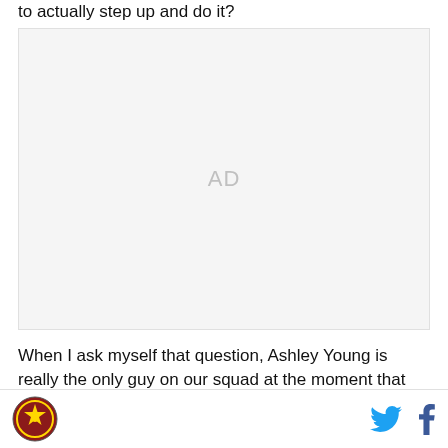to actually step up and do it?
[Figure (other): Advertisement placeholder box with 'AD' label in light gray on light gray background]
When I ask myself that question, Ashley Young is really the only guy on our squad at the moment that jumps to
Logo icon | Twitter icon | Facebook icon